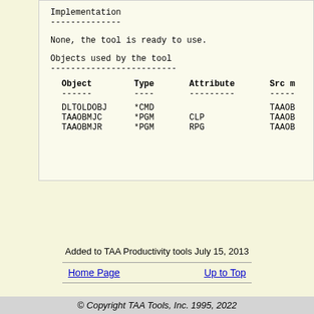Implementation
--------------
None, the tool is ready to use.
Objects used by the tool
------------------------
| Object | Type | Attribute | Src m |
| --- | --- | --- | --- |
| DLTOLDOBJ | *CMD |  | TAAOB |
| TAAOBMJC | *PGM | CLP | TAAOB |
| TAAOBMJR | *PGM | RPG | TAAOB |
Added to TAA Productivity tools July 15, 2013
Home Page   Up to Top
© Copyright TAA Tools, Inc. 1995, 2022